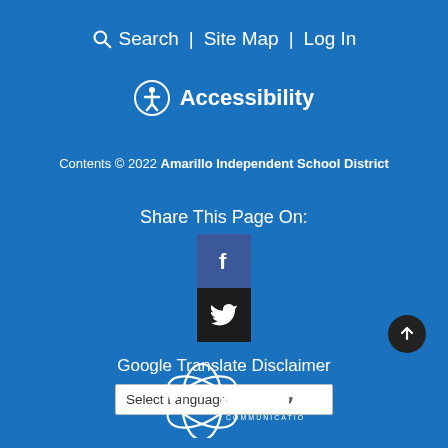Search | Site Map | Log In
Accessibility
Contents © 2022 Amarillo Independent School District
Share This Page On:
[Figure (logo): Facebook icon - white f on dark blue background]
[Figure (logo): Twitter bird icon on dark/black background]
Google Translate Disclaimer
Select Language
[Figure (logo): Gabbart Communications logo - white orbital ring design with Gabbart text]